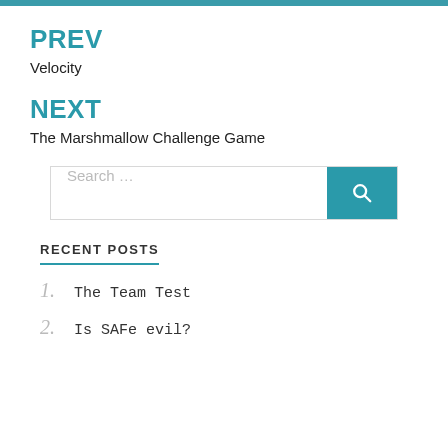PREV
Velocity
NEXT
The Marshmallow Challenge Game
RECENT POSTS
1. The Team Test
2. Is SAFe evil?